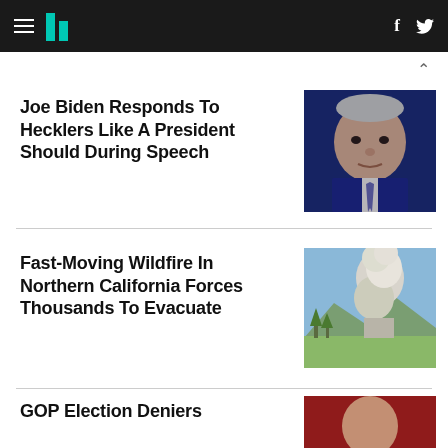HuffPost navigation with hamburger menu, logo, Facebook and Twitter icons
Joe Biden Responds To Hecklers Like A President Should During Speech
[Figure (photo): Close-up photo of Joe Biden against dark blue background]
Fast-Moving Wildfire In Northern California Forces Thousands To Evacuate
[Figure (photo): Photo of a large smoke plume rising from a wildfire over Northern California landscape]
GOP Election Deniers
[Figure (photo): Partial photo of a person, appears reddish background]